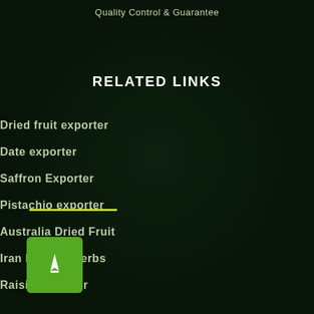Quality Control & Guarantee
RELATED LINKS
Dried fruit exporter
Date exporter
Saffron Exporter
Pistachio exporter
Australia Dried Fruit
Iran Medical Herbs
Raisin Exporter
[Figure (logo): Green square button with white aircraft/rocket icon pointing upward]